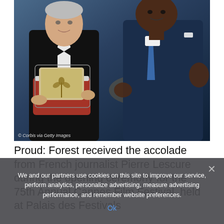[Figure (photo): Two men on stage at Cannes Film Festival. Left: an older man in a tuxedo holding the Palme d'Or award in a red-lined case. Right: a tall Black man in a dark blue suit. Stage background shows a blurred cityscape with lights.]
© Corbis via Getty Images
Proud: Forest received the accolade from French journalist Pierre Lescure during the opening ceremony for the 75th Annual Cannes Film Festival, held at Palais des Festivals
We and our partners use cookies on this site to improve our service, perform analytics, personalize advertising, measure advertising performance, and remember website preferences.
Ok